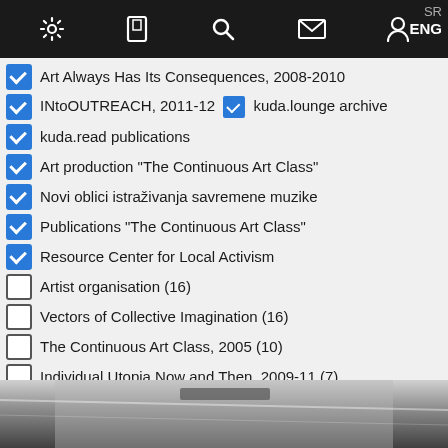Navigation bar with settings, tablet, search, mail, user icons, SR / ENG language switcher
Art Always Has Its Consequences, 2008-2010 [checked]
INtoOUTREACH, 2011-12 [checked] kuda.lounge archive [checked]
kuda.read publications [checked]
Art production "The Continuous Art Class" [checked]
Novi oblici istraživanja savremene muzike [checked]
Publications "The Continuous Art Class" [checked]
Resource Center for Local Activism [checked]
Artist organisation (16) [unchecked]
Vectors of Collective Imagination (16) [unchecked]
The Continuous Art Class, 2005 (10) [unchecked]
Individual Utopia Now and Then, 2009-11 (7) [unchecked]
Networks & initiatives (3) [unchecked]
Aesthetic Education Expanded, 2015-17 (2) [unchecked]
Projects (2) [unchecked]
- kuda.tags -
[Figure (photo): Partial view of an indoor space, ceiling visible with lighting]